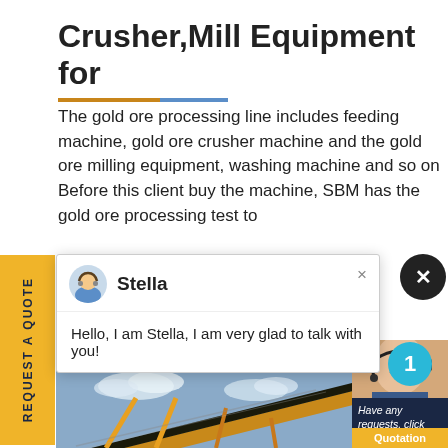Crusher,Mill Equipment for
The gold ore processing line includes feeding machine, gold ore crusher machine and the gold ore milling equipment, washing machine and so on Before this client buy the machine, SBM has the gold ore processing test to
[Figure (screenshot): Chat popup with avatar of Stella and message: Hello, I am Stella, I am very glad to talk with you!]
[Figure (photo): Yellow belt conveyor machinery against blue sky]
[Figure (photo): Customer service woman with headset smiling, blue notification badge with number 1]
Have any requests, click here.
Quotation